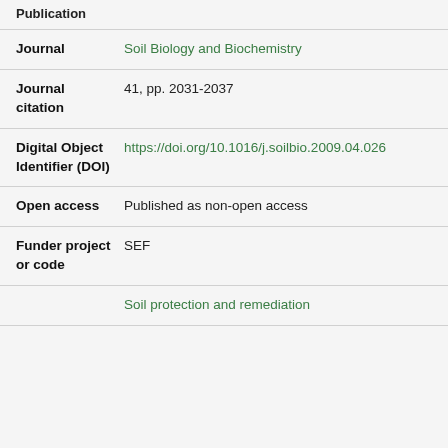Publication
| Field | Value |
| --- | --- |
| Journal | Soil Biology and Biochemistry |
| Journal citation | 41, pp. 2031-2037 |
| Digital Object Identifier (DOI) | https://doi.org/10.1016/j.soilbio.2009.04.026 |
| Open access | Published as non-open access |
| Funder project or code | SEF |
|  | Soil protection and remediation |